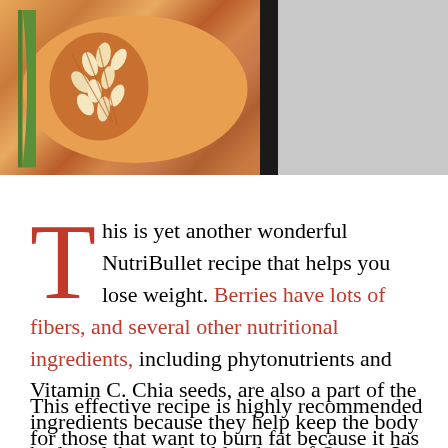[Figure (photo): Photo of a sliced melon/pumpkin showing seeds and flesh, placed against a dark vertical bar and gray background]
This is yet another wonderful NutriBullet recipe that helps you lose weight. Berries have lots of fibers, and several other nutritional ingredients, including phytonutrients and Vitamin C. Chia seeds, are also a part of the ingredients because they help keep the body hydrated, have a healthy dose of Omega-3 fats, and normalize the blood sugar.
This effective recipe is highly recommended for those that want to burn fat because it has all the right ingredients that complement each other for